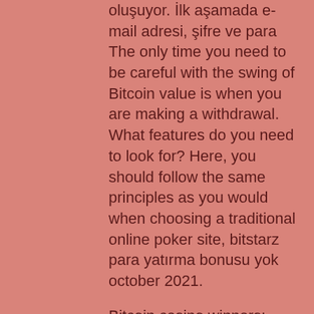oluşuyor. İlk aşamada e-mail adresi, şifre ve para
The only time you need to be careful with the swing of Bitcoin value is when you are making a withdrawal. What features do you need to look for? Here, you should follow the same principles as you would when choosing a traditional online poker site, bitstarz para yatırma bonusu yok october 2021.
Bitcoin casino winners:
Fantasy Fortune - 242.2 ltc
Green Grocery - 172.1 eth
Charming Queens - 643.9 ltc
Winter Wonders - 477 ltc
Fancy Fruits Chicken Shooter - 339.3 eth
Diamond Cats - 103.9 eth
Ryan OBryan and the Celtic Fairies - 114.7 btc
Green Grocery - 3.6 eth
Fortune Cookie - 219.1 usdt